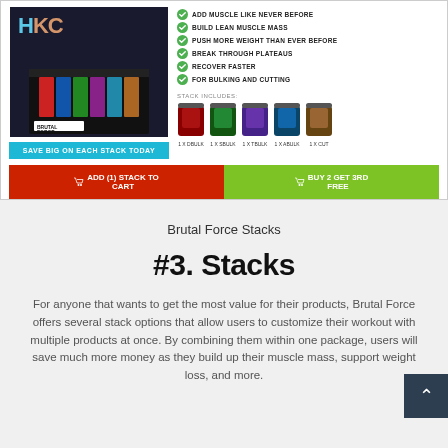[Figure (screenshot): Product card for Brutal Force Stacks showing HKC logo, product box image, feature list with green checkmarks (ADD MUSCLE LIKE NEVER BEFORE, BUILD LEAN MUSCLE MASS, PUSH MORE WEIGHT THAN EVER BEFORE, BREAK THROUGH PLATEAUS, RECOVER FASTER, FOR BULKING AND CUTTING), stack includes section with 5 product pouches (1X DBULK, 1X SBULK, 1X TBULK, 1X ABULK, 1X CUT), SAVE BIG ON EACH STACK TODAY button, ADD (1) STACK TO CART button in red, BUY 2 GET 3RD FREE button in green]
Brutal Force Stacks
#3. Stacks
For anyone that wants to get the most value for their products, Brutal Force offers several stack options that allow users to customize their workout with multiple products at once. By combining them within one package, users will save much more money as they build up their muscle mass, support weight loss, and more.